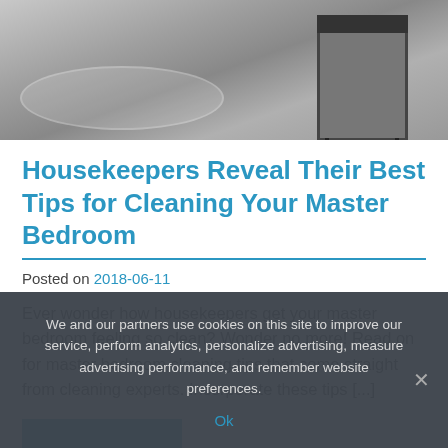[Figure (photo): Black and white photo of a master bedroom corner with a side table, chair legs, and a round rug on the floor]
Housekeepers Reveal Their Best Tips for Cleaning Your Master Bedroom
Posted on 2018-06-11
Ever wonder how housekeepers get your master bedroom feeling so clean? Wonder no more! Read on for master bedroom cleaning tips that come straight from cleaning experts. Incorporate these tips [...]
We and our partners use cookies on this site to improve our service, perform analytics, personalize advertising, measure advertising performance, and remember website preferences.
Ok